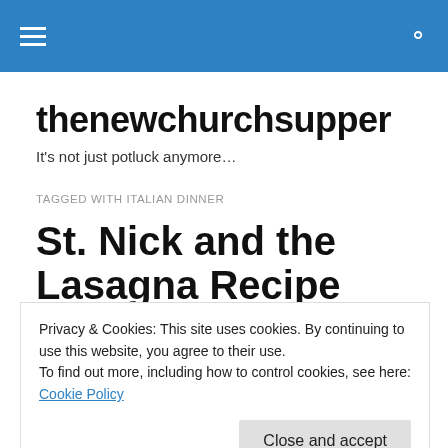thenewchurchsupper navigation bar
thenewchurchsupper
It's not just potluck anymore…
TAGGED WITH ITALIAN DINNER
St. Nick and the Lasagna Recipe
Privacy & Cookies: This site uses cookies. By continuing to use this website, you agree to their use.
To find out more, including how to control cookies, see here: Cookie Policy
over so they could run out into the narthex and locate their